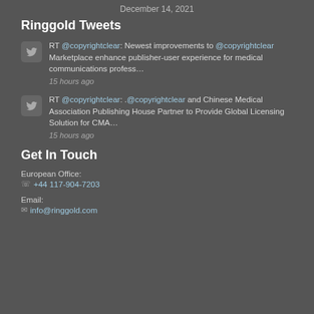December 14, 2021
Ringgold Tweets
RT @copyrightclear: Newest improvements to @copyrightclear Marketplace enhance publisher-user experience for medical communications profess… 15 hours ago
RT @copyrightclear: .@copyrightclear and Chinese Medical Association Publishing House Partner to Provide Global Licensing Solution for CMA… 15 hours ago
Get In Touch
European Office:
+44 117-904-7203
Email:
info@ringgold.com